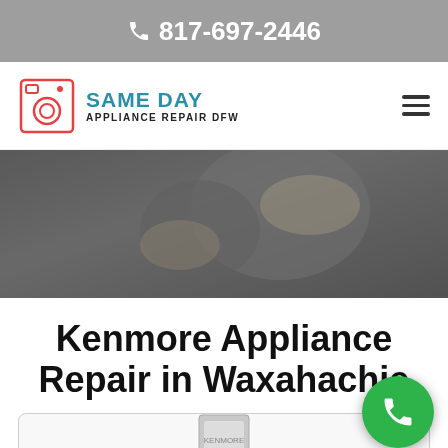817-697-2446
[Figure (logo): Same Day Appliance Repair DFW logo with washing machine icon]
[Figure (photo): Technician working on appliance repair, dark overlay]
Kenmore Appliance Repair in Waxahachie
[Figure (photo): Kenmore appliance product image at bottom]